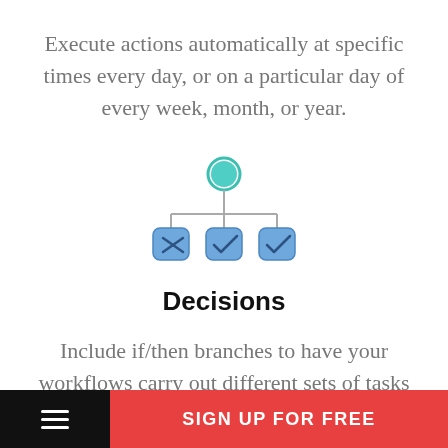Execute actions automatically at specific times every day, or on a particular day of every week, month, or year.
[Figure (other): A decision tree diagram: a teal circle at the top connected by lines to three blue rounded-square icons below — the leftmost has an X, the middle and right have checkmarks.]
Decisions
Include if/then branches to have your workflows carry out different sets of tasks based on the conditions you specify.
SIGN UP FOR FREE